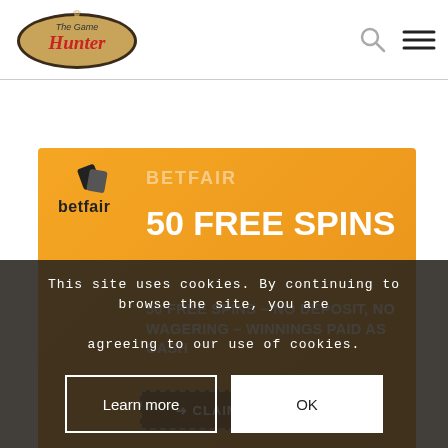The Game Hunter - header with logo, search and menu icons
[Figure (infographic): Betfair casino promotional banner with orange/gold gradient background. Shows betfair logo (playing card icon + 'betfair' text) on the left, large 'BETFAIR' watermark text, bold headline '50 FREE SPINS', subheadline '50 FREE SPINS – NO DEPOSIT, NO WAGERING – WINNINGS PAID AS CASH', and a 'CLAIM NOW' dashed-border dark button.]
This site uses cookies. By continuing to browse the site, you are agreeing to our use of cookies.
Learn more
OK